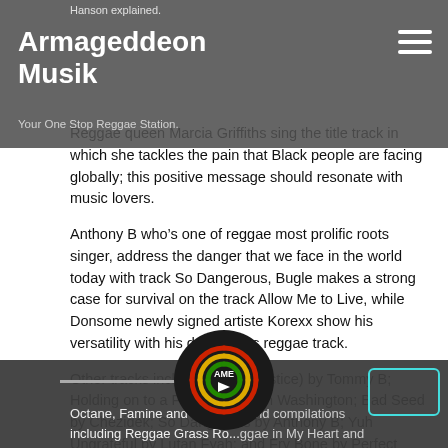Armageddeon Musik
Your One Stop Reggae Station.
Reggae queen Marcia Griffiths sing the title track in which she tackles the pain that Black people are facing globally; this positive message should resonate with music lovers.
Anthony B who’s one of reggae most prolific roots singer, address the danger that we face in the world today with track So Dangerous, Bugle makes a strong case for survival on the track Allow Me to Live, while Donsome newly signed artiste Korexx show his versatility with his debut roots reggae track.
Other tracks include Crying (Justice) by Tommy B; Holding on to a Feeling by Glen Washington; Bad Seed by Chezidek; So Dangerous by Anthony B; Yuh Ungrateful by Lutan Fyah; and Fry Bone by Perfect Giddimani.
[Figure (logo): AME circular logo with red, yellow, green sound wave arcs and a play button triangle in the center on dark background]
Octane, Famine and Dro...yne and compilations including Reggae Grass Ro... ggae in My Heart and